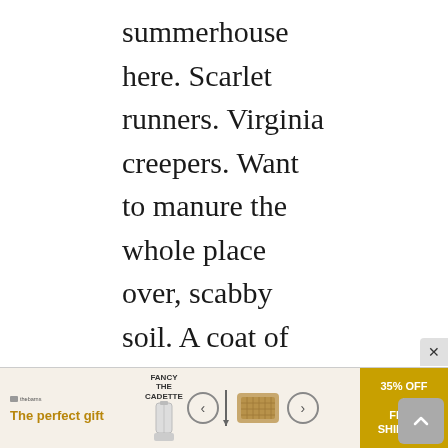summerhouse here. Scarlet runners. Virginia creepers. Want to manure the whole place over, scabby soil. A coat of liver of sulphur. All soil like that without dung. Household slops. Loam, what is this that is? The hens in the next garden: their droppings are very good top dressing. Best of all though are the cattle, especially when they are fed on those oilcakes. Mulch of dung. Best thing to clean ladies’ kid gloves. Dirty cleans. Ashes too. Reclaim the whole
[Figure (other): Advertisement banner at the bottom of the page reading 'The perfect gift' with product images, navigation arrows, and a '35% OFF + FREE SHIPPING' offer badge.]